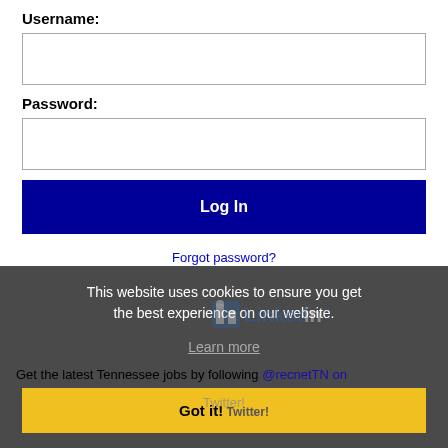Username:
[Figure (other): Username input field (empty text box)]
Password:
[Figure (other): Password input field (empty text box)]
Log In
Forgot password?
This website uses cookies to ensure you get the best experience on our website.
Learn more
[Figure (logo): LinkedIn logo watermark]
Get the latest Tennessee jobs by following @recnetTN on Twitter!
Got it!
Memphis RSS job feeds